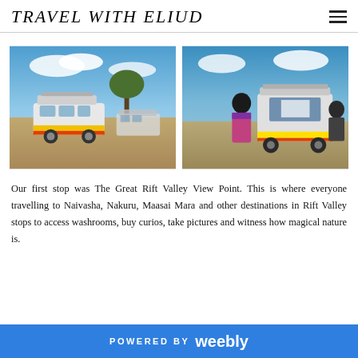TRAVEL WITH ELIUD
[Figure (photo): Two side-by-side photos of white matatu (minibus) vans with colorful stripe markings parked on a dirt road under a blue sky with clouds, at The Great Rift Valley View Point in Kenya.]
Our first stop was The Great Rift Valley View Point. This is where everyone travelling to Naivasha, Nakuru, Maasai Mara and other destinations in Rift Valley stops to access washrooms, buy curios, take pictures and witness how magical nature is.
POWERED BY  weebly